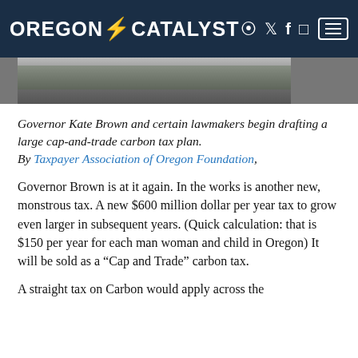OREGON CATALYST
[Figure (photo): Partial photograph of an outdoor scene, appears to be a building with green lawn, shown as a cropped strip]
Governor Kate Brown and certain lawmakers begin drafting a large cap-and-trade carbon tax plan. By Taxpayer Association of Oregon Foundation,
Governor Brown is at it again. In the works is another new, monstrous tax. A new $600 million dollar per year tax to grow even larger in subsequent years. (Quick calculation: that is $150 per year for each man woman and child in Oregon) It will be sold as a “Cap and Trade” carbon tax.
A straight tax on Carbon would apply across the